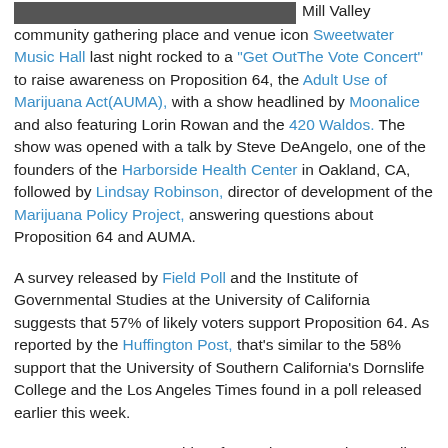[Figure (photo): Partial photo strip at top of page, showing a dark/blurred image of people at a concert or event.]
Mill Valley community gathering place and venue icon Sweetwater Music Hall last night rocked to a "Get OutThe Vote Concert" to raise awareness on Proposition 64, the Adult Use of Marijuana Act(AUMA), with a show headlined by Moonalice and also featuring Lorin Rowan and the 420 Waldos. The show was opened with a talk by Steve DeAngelo, one of the founders of the Harborside Health Center in Oakland, CA, followed by Lindsay Robinson, director of development of the Marijuana Policy Project, answering questions about Proposition 64 and AUMA.
A survey released by Field Poll and the Institute of Governmental Studies at the University of California suggests that 57% of likely voters support Proposition 64. As reported by the Huffington Post, that's similar to the 58% support that the University of Southern California's Dornslife College and the Los Angeles Times found in a poll released earlier this week.
Roger McNamee, cannabis reform advocate and Moonalice founder, whose "first and driving motivation on Prop 64 is